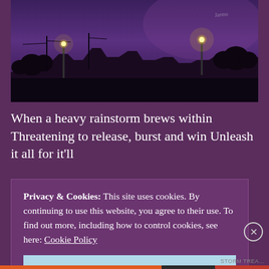[Figure (photo): Night sky photo showing silhouettes of rooftops, trees, and utility poles against a dark purple twilight sky. Two lamp posts glow with warm yellow light. A faint signature or text is visible in the upper right corner.]
When a heavy rainstorm brews within  Threatening to release, burst and win Unleash it all for it'll
Privacy & Cookies: This site uses cookies. By continuing to use this website, you agree to their use. To find out more, including how to control cookies, see here: Cookie Policy
Close and accept